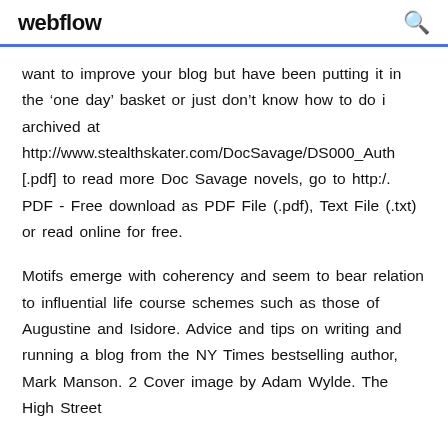webflow
want to improve your blog but have been putting it in the ‘one day’ basket or just don’t know how to do i archived at http://www.stealthskater.com/DocSavage/DS000_Auth [.pdf] to read more Doc Savage novels, go to http:/. PDF - Free download as PDF File (.pdf), Text File (.txt) or read online for free.
Motifs emerge with coherency and seem to bear relation to influential life course schemes such as those of Augustine and Isidore. Advice and tips on writing and running a blog from the NY Times bestselling author, Mark Manson. 2 Cover image by Adam Wylde. The High Street